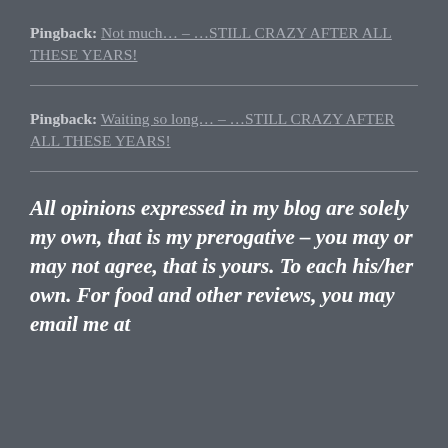Pingback: Not much… – …STILL CRAZY AFTER ALL THESE YEARS!
Pingback: Waiting so long… – …STILL CRAZY AFTER ALL THESE YEARS!
All opinions expressed in my blog are solely my own, that is my prerogative – you may or may not agree, that is yours. To each his/her own. For food and other reviews, you may email me at